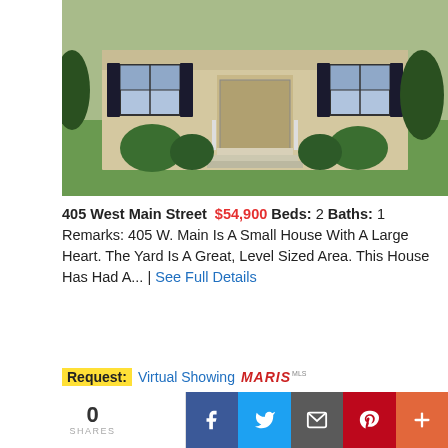[Figure (photo): Exterior photo of a small yellow/tan single-story house with white porch steps, shrubs, green lawn, and dark shutters on windows]
405 West Main Street $54,900 Beds: 2 Baths: 1 Remarks: 405 W. Main Is A Small House With A Large Heart. The Yard Is A Great, Level Sized Area. This House Has Had A... | See Full Details
Request: Virtual Showing MARIS MLS
[Figure (infographic): Black banner: ONLINE ONLY AUCTION — BIDDING STARTS SAT. DECEMBER 4 @ 8AM AND ENDS MON. DECEMBER 13, 2021 @ 12PM]
[Figure (photo): Aerial/landscape photo of woodland area below the auction banner]
0 SHARES